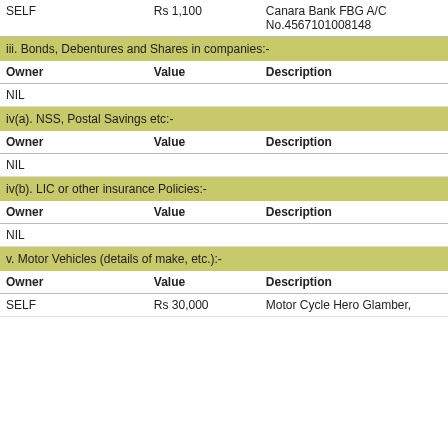| Owner | Value | Description |
| --- | --- | --- |
| SELF | Rs 1,100 | Canara Bank FBG A/C No.4567101008148 |
iii. Bonds, Debentures and Shares in companies:-
| Owner | Value | Description |
| --- | --- | --- |
| NIL |  |  |
iv(a). NSS, Postal Savings etc:-
| Owner | Value | Description |
| --- | --- | --- |
| NIL |  |  |
iv(b). LIC or other insurance Policies:-
| Owner | Value | Description |
| --- | --- | --- |
| NIL |  |  |
v. Motor Vehicles (details of make, etc.):-
| Owner | Value | Description |
| --- | --- | --- |
| SELF | Rs 30,000 | Motor Cycle Hero Glamber, |